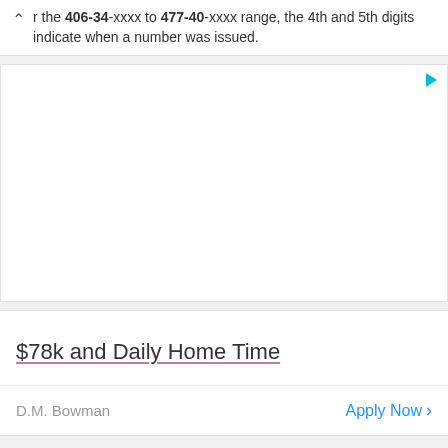the 406-34-xxxx to 477-40-xxxx range, the 4th and 5th digits indicate when a number was issued.
[Figure (other): Advertisement banner area (blank/empty ad)]
$78k and Daily Home Time
D.M. Bowman
Apply Now >